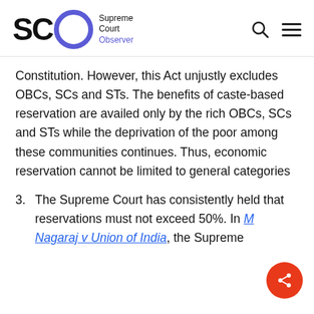SCO Supreme Court Observer
Constitution. However, this Act unjustly excludes OBCs, SCs and STs. The benefits of caste-based reservation are availed only by the rich OBCs, SCs and STs while the deprivation of the poor among these communities continues. Thus, economic reservation cannot be limited to general categories
3. The Supreme Court has consistently held that reservations must not exceed 50%. In M Nagaraj v Union of India, the Supreme